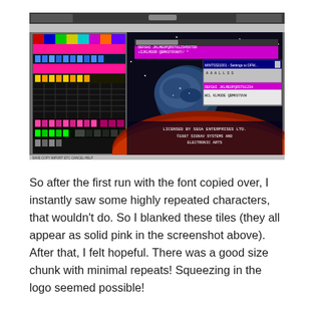[Figure (screenshot): Screenshot of a computer application showing a retro-style game or emulator environment. On the left is a colorful tile/font editor window with multicolored pixel characters. On the right is a space-themed game screen showing a planet and red surface with white text reading 'LICENSED BY SEGA ENTERPRISES LTD.' and '© 1987 SIGNAV SYSTEMS AND ELECTRONIC ARTS'. Overlaid are terminal/dialog windows with command-line text. Some tiles appear as solid pink/magenta blocks.]
So after the first run with the font copied over, I instantly saw some highly repeated characters, that wouldn't do. So I blanked these tiles (they all appear as solid pink in the screenshot above). After that, I felt hopeful. There was a good size chunk with minimal repeats! Squeezing in the logo seemed possible!